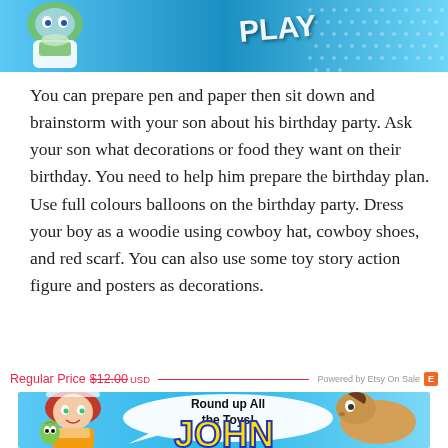[Figure (illustration): Top banner image showing Toy Story characters including Buzz Lightyear on a blue background with 'PLAY' text and dot patterns]
You can prepare pen and paper then sit down and brainstorm with your son about his birthday party. Ask your son what decorations or food they want on their birthday. You need to help him prepare the birthday plan. Use full colours balloons on the birthday party. Dress your boy as a woodie using cowboy hat, cowboy shoes, and red scarf. You can also use some toy story action figure and posters as decorations.
Regular Price $12.00 USD — Powered by Etsy On Sale
[Figure (illustration): Bottom banner image showing Toy Story characters Jessie and Bullseye the horse with a speech bubble reading 'Round up all the toys!' and the name 'JOHN' in large yellow letters with blue outline]